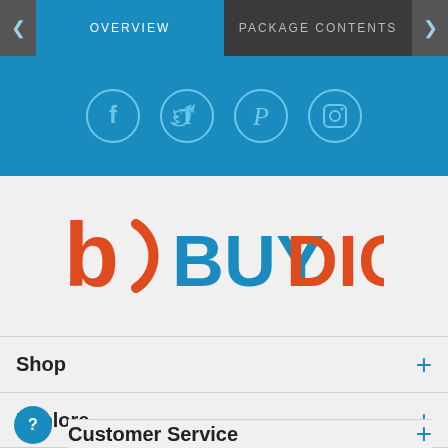OVERVIEW | PACKAGE CONTENTS
[Figure (screenshot): Social media icons: Facebook, Twitter, Pinterest, Instagram on blue background]
[Figure (logo): BuyDig logo with blue and orange/red lettering on light gray background]
Shop +
Explore +
Customer Service +